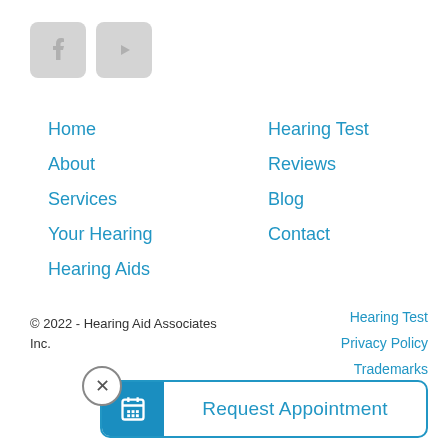[Figure (logo): Two social media icon buttons: Facebook (f) and YouTube (play button), styled as light gray rounded squares]
Home
About
Services
Your Hearing
Hearing Aids
Hearing Test
Reviews
Blog
Contact
© 2022 - Hearing Aid Associates Inc.
Hearing Test
Privacy Policy
Trademarks
Request Appointment